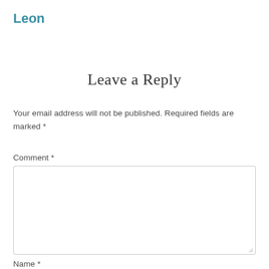Leon
Leave a Reply
Your email address will not be published. Required fields are marked *
Comment *
Name *